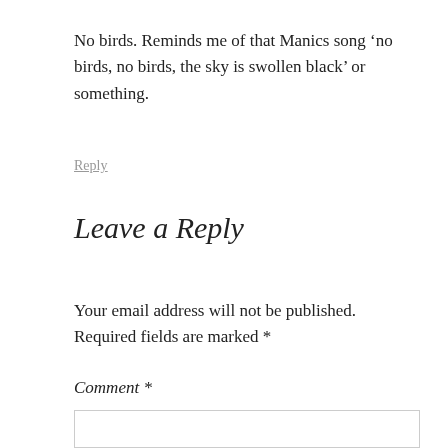No birds. Reminds me of that Manics song ‘no birds, no birds, the sky is swollen black’ or something.
Reply
Leave a Reply
Your email address will not be published. Required fields are marked *
Comment *